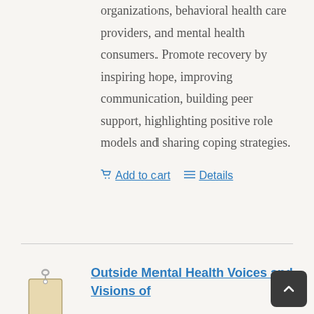organizations, behavioral health care providers, and mental health consumers. Promote recovery by inspiring hope, improving communication, building peer support, highlighting positive role models and sharing coping strategies.
Add to cart
Details
[Figure (illustration): A price tag or luggage tag with a chain/ring attachment, beige/tan colored rectangular tag]
Outside Mental Health Voices and Visions of